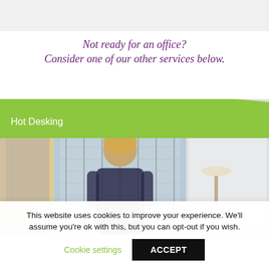Not ready for an office? Consider one of our other services below.
[Figure (photo): Green curved banner with 'Hot Desking' label overlaid on a photo of a woman working at a desk in an office environment with glass partitions and vertical blinds.]
This website uses cookies to improve your experience. We'll assume you're ok with this, but you can opt-out if you wish.
Cookie settings  ACCEPT